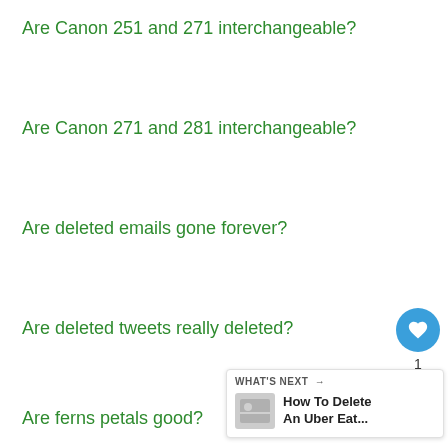Are Canon 251 and 271 interchangeable?
Are Canon 271 and 281 interchangeable?
Are deleted emails gone forever?
Are deleted tweets really deleted?
Are ferns petals good?
[Figure (infographic): Social media widget with heart (like) button showing count of 1, and a share button, both in blue circles]
[Figure (infographic): WHAT'S NEXT panel showing 'How To Delete An Uber Eat...' with a thumbnail image]